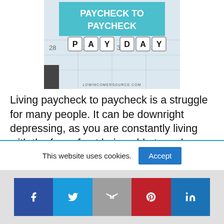[Figure (photo): Photo of letter dice spelling PAY DAY on a calendar background with teal 'PAYCHECK TO PAYCHECK' banner overlay and lowincomersource.com watermark]
Living paycheck to paycheck is a struggle for many people. It can be downright depressing, as you are constantly living with the fear of not being able to make your next payment. Let me give you some tips on how to live better and save more money so that your life isn't always in such turmoil.
This website uses cookies.
[Figure (infographic): Social share bar with Facebook, Twitter, Gmail/Google, Pinterest, and LinkedIn icons]